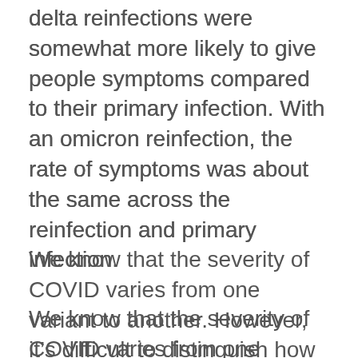delta reinfections were somewhat more likely to give people symptoms compared to their primary infection. With an omicron reinfection, the rate of symptoms was about the same across the reinfection and primary infection.
We know that the severity of COVID varies from one variant to another. However, it’s difficult to distinguish how much of the difference above is down to the different strengths of the variants, and how much is due to levels of COVID immunity from prior infection and vaccination present in people at the time.
A question that remains unanswered is whether an omicron infection in an unvaccinated person is less severe if that person has already been infected. In a small omicron outbreak in a US household, one unvaccinated